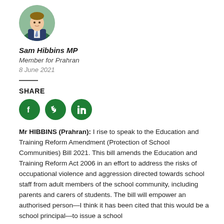[Figure (photo): Circular portrait photo of Sam Hibbins MP, a young man in a suit and tie, outdoors with green background]
Sam Hibbins MP
Member for Prahran
8 June 2021
SHARE
[Figure (other): Three green circular social media icons: Facebook, Twitter, LinkedIn]
Mr HIBBINS (Prahran): I rise to speak to the Education and Training Reform Amendment (Protection of School Communities) Bill 2021. This bill amends the Education and Training Reform Act 2006 in an effort to address the risks of occupational violence and aggression directed towards school staff from adult members of the school community, including parents and carers of students. The bill will empower an authorised person—I think it has been cited that this would be a school principal—to issue a school